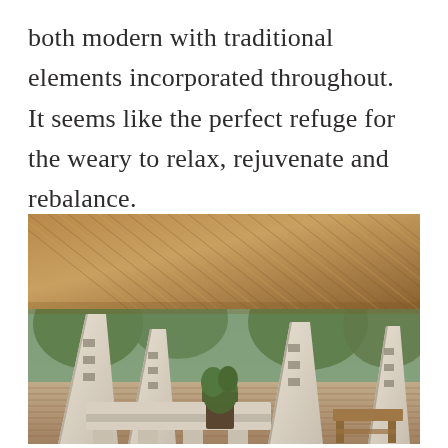both modern with traditional elements incorporated throughout.  It seems like the perfect refuge for the weary to relax, rejuvenate and rebalance.
[Figure (photo): Outdoor terrace or lounge area with rustic white stone columns and seating, covered by a woven reed/straw canopy roof, surrounded by greenery and trees. Mediterranean or rural architectural style.]